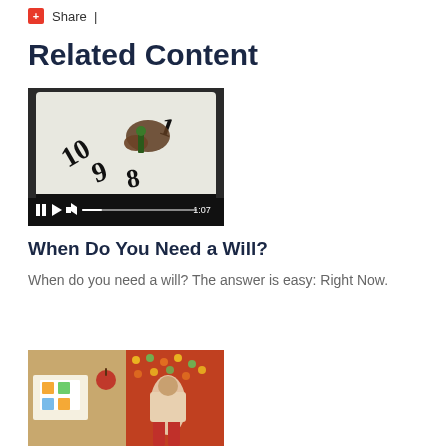+ Share |
Related Content
[Figure (screenshot): Video thumbnail showing a hand placing a chess piece on a clock face, with video controls at bottom showing pause/play buttons and duration 1:07]
When Do You Need a Will?
When do you need a will? The answer is easy: Right Now.
[Figure (photo): Photo showing a person on a colorful patterned background with sticky notes, and a table with papers and an apple]